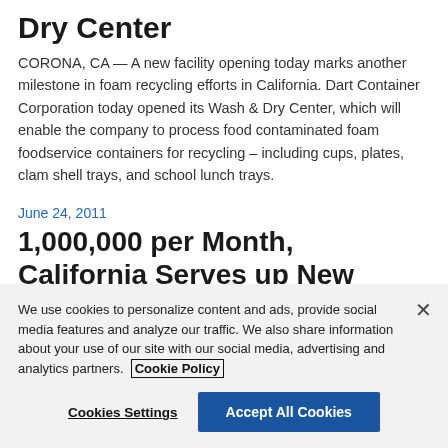Dry Center
CORONA, CA — A new facility opening today marks another milestone in foam recycling efforts in California. Dart Container Corporation today opened its Wash & Dry Center, which will enable the company to process food contaminated foam foodservice containers for recycling – including cups, plates, clam shell trays, and school lunch trays.
June 24, 2011
1,000,000 per Month, California Serves up New Milestone in Foam
We use cookies to personalize content and ads, provide social media features and analyze our traffic. We also share information about your use of our site with our social media, advertising and analytics partners. Cookie Policy
Cookies Settings
Accept All Cookies